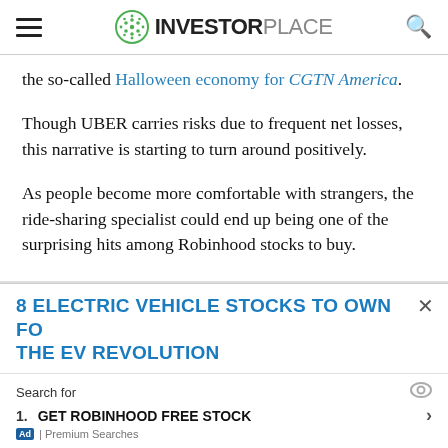INVESTORPLACE
the so-called Halloween economy for CGTN America.
Though UBER carries risks due to frequent net losses, this narrative is starting to turn around positively.
As people become more comfortable with strangers, the ride-sharing specialist could end up being one of the surprising hits among Robinhood stocks to buy.
8 ELECTRIC VEHICLE STOCKS TO OWN FOR THE EV REVOLUTION
Search for
1. GET ROBINHOOD FREE STOCK
Ad | Premium Searches